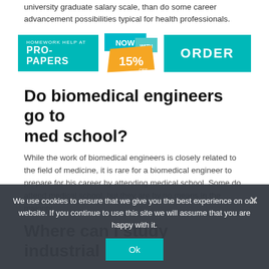university graduate salary scale, than do some career advancement possibilities typical for health professionals.
[Figure (infographic): Advertisement banner for Pro-Papers homework help service showing 'HOMEWORK HELP AT PRO-PAPERS' logo, a 'NOW WITH 15% OFF' badge, and an 'ORDER' button, all in teal/cyan color scheme.]
Do biomedical engineers go to med school?
While the work of biomedical engineers is closely related to the field of medicine, it is rare for a biomedical engineer to prepare for his career by attending medical school. Some do attend medical school, but they are by no means in the majority.
Where can I study industrial
We use cookies to ensure that we give you the best experience on our website. If you continue to use this site we will assume that you are happy with it.